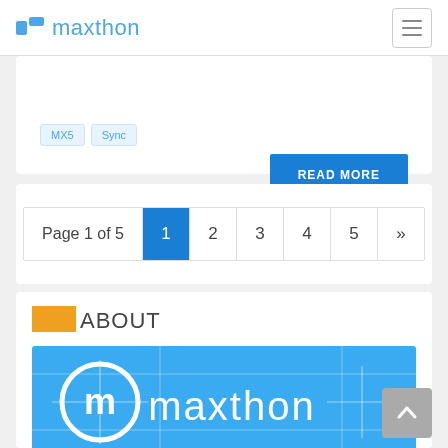maxthon
MX5   Sync
READ MORE
Page 1 of 5   1   2   3   4   5   »
ABOUT
[Figure (logo): Maxthon logo on blue background with circular M icon and 'maxthon' text with design grid lines]